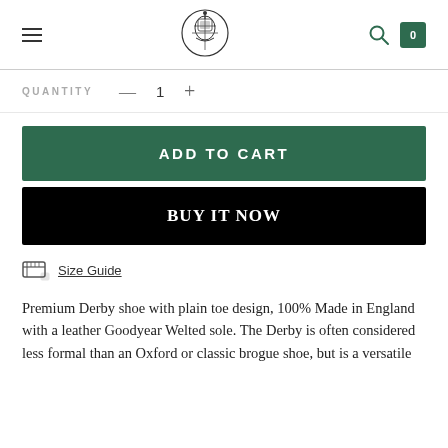Navigation header with menu, logo, search, and cart (0)
QUANTITY — 1 +
ADD TO CART
BUY IT NOW
Size Guide
Premium Derby shoe with plain toe design, 100% Made in England with a leather Goodyear Welted sole. The Derby is often considered less formal than an Oxford or classic brogue shoe, but is a versatile